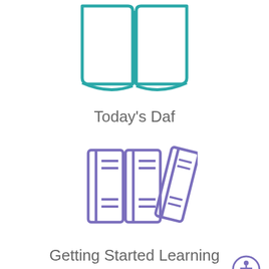[Figure (illustration): Teal/green open book icon with two arcs at the binding at the top of the page]
Today's Daf
[Figure (illustration): Purple/lavender three books standing upright icon]
Getting Started Learning Talmud
[Figure (illustration): Purple accessibility icon — circle with stick figure person inside, bottom right corner]